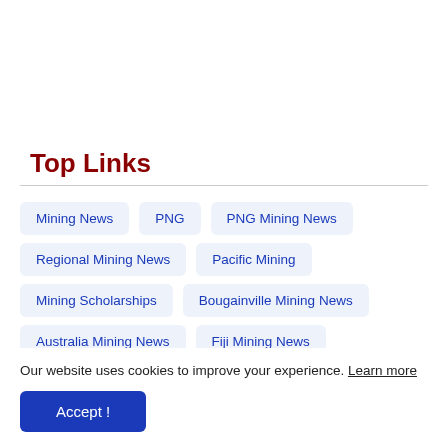Top Links
Mining News
PNG
PNG Mining News
Regional Mining News
Pacific Mining
Mining Scholarships
Bougainville Mining News
Australia Mining News
Fiji Mining News
Our website uses cookies to improve your experience. Learn more
Accept !